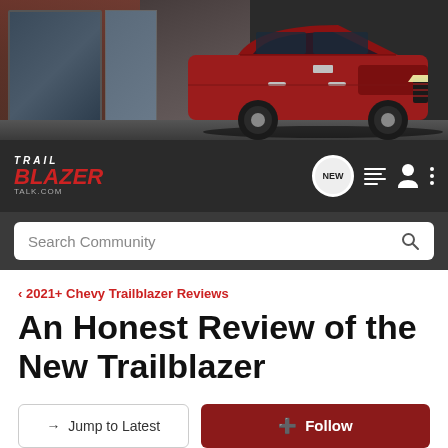[Figure (screenshot): Hero banner showing a red Chevrolet Trailblazer SUV on a dark city background]
TRAIL BLAZER TALK.COM — navigation bar with NEW badge, list icon, user icon, and menu icon, plus Search Community search bar
< 2021+ Chevy Trailblazer Reviews
An Honest Review of the New Trailblazer
→ Jump to Latest    ⊕ Follow
1 - 7 of 7 Posts